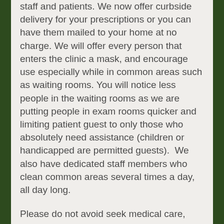staff and patients. We now offer curbside delivery for your prescriptions or you can have them mailed to your home at no charge. We will offer every person that enters the clinic a mask, and encourage use especially while in common areas such as waiting rooms. You will notice less people in the waiting rooms as we are putting people in exam rooms quicker and limiting patient guest to only those who absolutely need assistance (children or handicapped are permitted guests).  We also have dedicated staff members who clean common areas several times a day, all day long.
Please do not avoid seek medical care, delaying treatment or ignoring symptoms can make chronic medical conditions worse or require longer treatment than usual.  If you have any questions feel free to contact us at 304-469-2905 to speak to one of our team members or access your patient portal to ask your provider questions or request appointments.